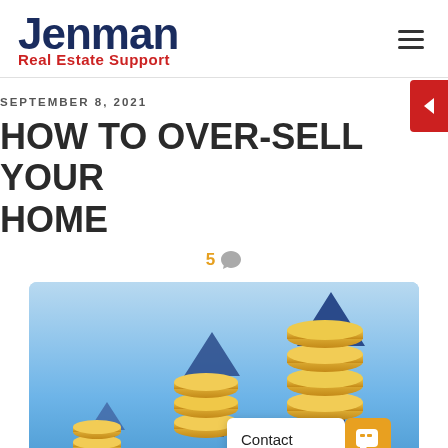[Figure (logo): Jenman Real Estate Support logo — 'Jenman' in large dark navy bold text, 'Real Estate Support' in red below]
HOW TO OVER-SELL YOUR HOME
SEPTEMBER 8, 2021
5 comments
[Figure (illustration): Hero image showing stacks of gold coins with blue upward arrows on a blue sky background, representing rising property values]